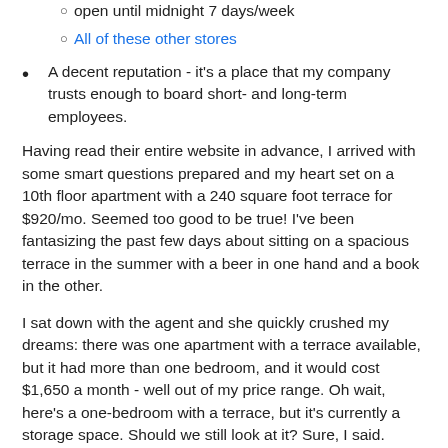open until midnight 7 days/week
All of these other stores
A decent reputation - it's a place that my company trusts enough to board short- and long-term employees.
Having read their entire website in advance, I arrived with some smart questions prepared and my heart set on a 10th floor apartment with a 240 square foot terrace for $920/mo. Seemed too good to be true! I've been fantasizing the past few days about sitting on a spacious terrace in the summer with a beer in one hand and a book in the other.
I sat down with the agent and she quickly crushed my dreams: there was one apartment with a terrace available, but it had more than one bedroom, and it would cost $1,650 a month - well out of my price range. Oh wait, here's a one-bedroom with a terrace, but it's currently a storage space. Should we still look at it? Sure, I said.
We set off to look at the first of four units on the tour. The first was the best - it was a 7th-floor unit with newly-renovated